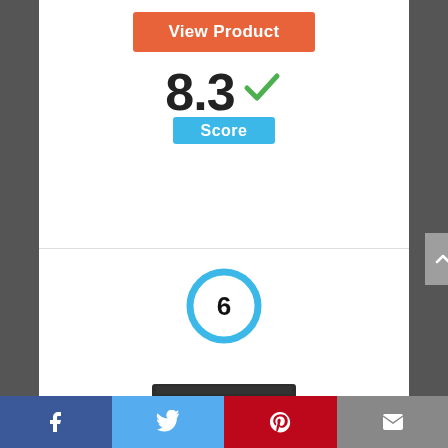View Product
8.3
Score
[Figure (infographic): Rank number 6 inside a thick blue circle]
[Figure (photo): Product image of a gray portable cooler/chest with black lid]
Facebook | Twitter | Pinterest | Email